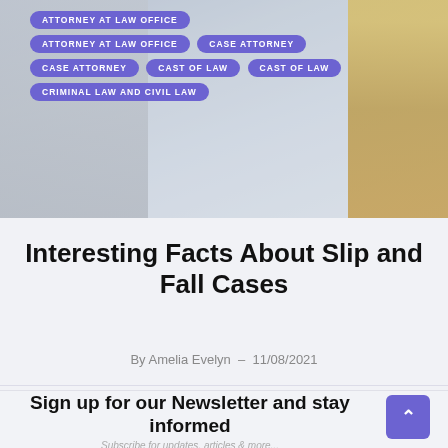[Figure (photo): Hero background image showing law books and marble columns]
ATTORNEY AT LAW OFFICE
ATTORNEY AT LAW OFFICE
CASE ATTORNEY
CASE ATTORNEY
CAST OF LAW
CAST OF LAW
CRIMINAL LAW AND CIVIL LAW
Interesting Facts About Slip and Fall Cases
By Amelia Evelyn  –  11/08/2021
Sign up for our Newsletter and stay informed